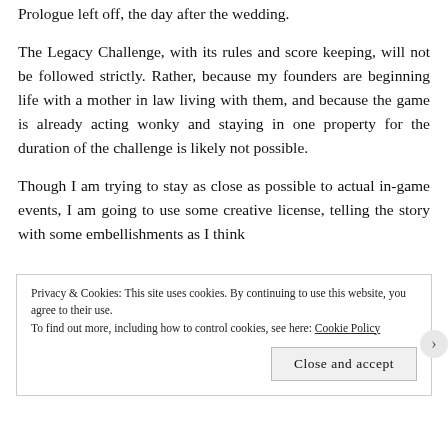Prologue left off, the day after the wedding.
The Legacy Challenge, with its rules and score keeping, will not be followed strictly. Rather, because my founders are beginning life with a mother in law living with them, and because the game is already acting wonky and staying in one property for the duration of the challenge is likely not possible.
Though I am trying to stay as close as possible to actual in-game events, I am going to use some creative license, telling the story with some embellishments as I think
Privacy & Cookies: This site uses cookies. By continuing to use this website, you agree to their use.
To find out more, including how to control cookies, see here: Cookie Policy
Close and accept